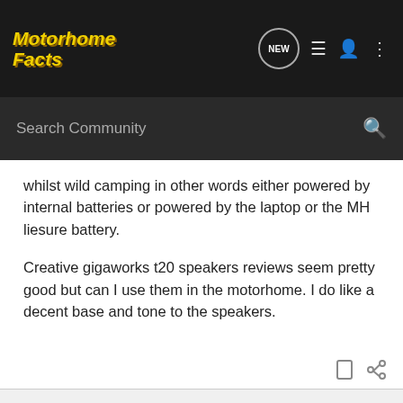Motorhome Facts
whilst wild camping in other words either powered by internal batteries or powered by the laptop or the MH liesure battery.

Creative gigaworks t20 speakers reviews seem pretty good but can I use them in the motorhome. I do like a decent base and tone to the speakers.
b16duv · Registered
Joined Feb 14, 2006 · 1,632 Posts
#2 · May 18, 2009
Hi Stevee4